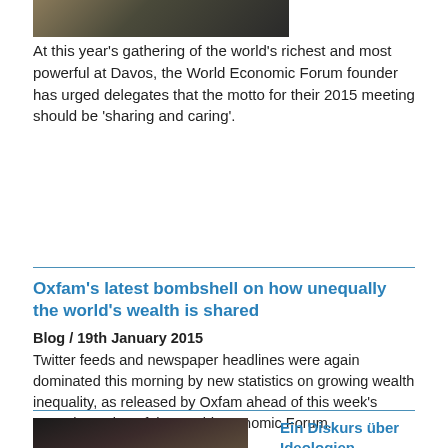[Figure (photo): Partial view of a person, top of image, dark background with light tones]
At this year's gathering of the world's richest and most powerful at Davos, the World Economic Forum founder has urged delegates that the motto for their 2015 meeting should be 'sharing and caring'.
Oxfam's latest bombshell on how unequally the world's wealth is shared
Blog / 19th January 2015
Twitter feeds and newspaper headlines were again dominated this morning by new statistics on growing wealth inequality, as released by Oxfam ahead of this week's annual meeting of the World Economic Forum.
[Figure (photo): Close-up portrait of an elderly person with weathered skin, dark background]
Ein Diskurs über Ideologien, Überzeugungen und 'Ismen'